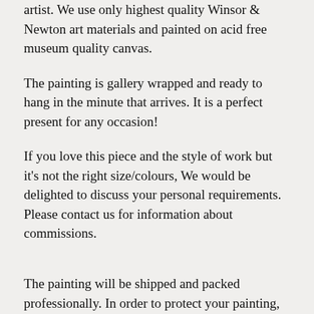artist. We use only highest quality Winsor & Newton art materials and painted on acid free museum quality canvas.
The painting is gallery wrapped and ready to hang in the minute that arrives. It is a perfect present for any occasion!
If you love this piece and the style of work but it's not the right size/colours, We would be delighted to discuss your personal requirements. Please contact us for information about commissions.
The painting will be shipped and packed professionally. In order to protect your painting, we will personally pack your painting with great care using high quality, shipping industry approved packing